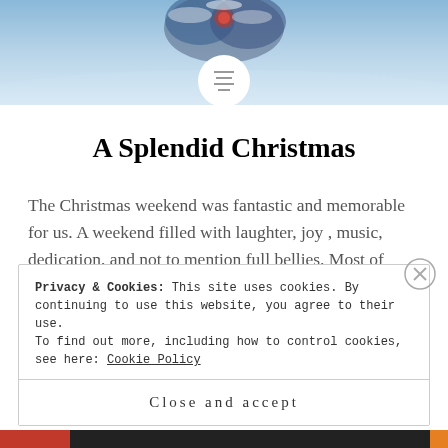[Figure (photo): Header image showing a snowy Christmas wreath scene with blue-tinted winter background. A white circle in the center contains a hamburger menu icon.]
A Splendid Christmas
The Christmas weekend was fantastic and memorable for us. A weekend filled with laughter, joy , music, dedication, and not to mention full bellies. Most of boxing day was dedicated to cooking for a family dinner later in the evening, what a task it was preparing the turkey, everything else though was to done in...
Privacy & Cookies: This site uses cookies. By continuing to use this website, you agree to their use.
To find out more, including how to control cookies, see here: Cookie Policy
Close and accept